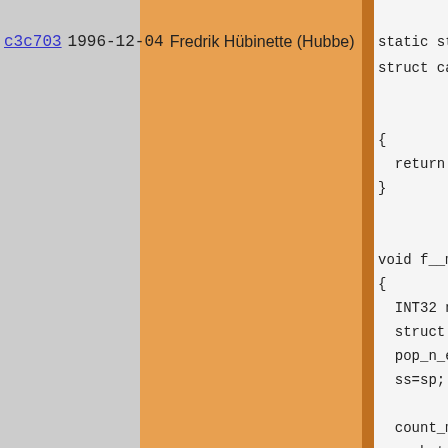c3c703  1996-12-04  Fredrik Hübinette (Hubbe)
static stru
struct callb
{
  return add
}

void f__memo
{
  INT32 num,
  struct sva
  pop_n_ele
  ss=sp;

  count_memo
  push_text(
  push_int(n
  push_text(
  push_int(s

  count_memo
  push_text(
  push_int(n
  push_text(
  push_int(s